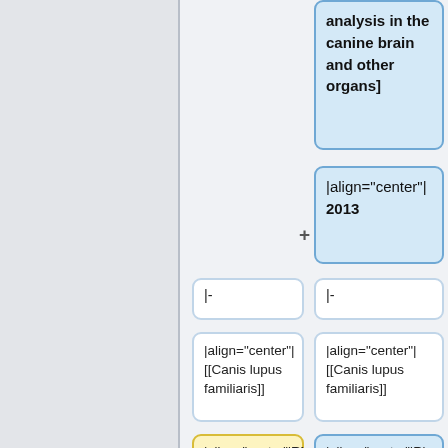[Figure (screenshot): Wikipedia wikitext diff tool showing two columns of wiki markup cells. Left sidebar is grey. Right area shows pairs of cells: top-right blue cell shows 'analysis in the canine brain and other organs]' with bold text; second blue cell shows '|align="center"| 2013'; then paired cells for |- , |align="center"| [[Canis lupus familiaris]], highlighted cells for |align="center"|Ribosomal protein S5, Ribosomal protein S19, with yellow highlight on left and blue on right; then || cells; then *''Different Developmental Stages & cells at bottom.]